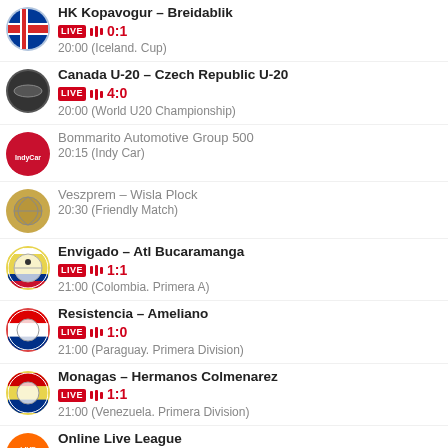HK Kopavogur – Breidablik
LIVE ||| 0:1
20:00 (Iceland. Cup)
Canada U-20 – Czech Republic U-20
LIVE ||| 4:0
20:00 (World U20 Championship)
Bommarito Automotive Group 500
20:15 (Indy Car)
Veszprem – Wisla Plock
20:30 (Friendly Match)
Envigado – Atl Bucaramanga
LIVE ||| 1:1
21:00 (Colombia. Primera A)
Resistencia – Ameliano
LIVE ||| 1:0
21:00 (Paraguay. Primera Division)
Monagas – Hermanos Colmenarez
LIVE ||| 1:1
21:00 (Venezuela. Primera Division)
Online Live League
LIVE |||
21:00 (Life Darts)
Babos (W) / Kulikova (W) – Lizette Cabrera (W)
21:00 (WTA. Vancouver. Doubles)
Babos (W) / Kulikov (W) – Hon (W) / Cabrera (W)
LIVE |||
21:05 (WTA. Vancouver. Doubles)
Babos T./Kulikov A. – Cabrera L./Hon